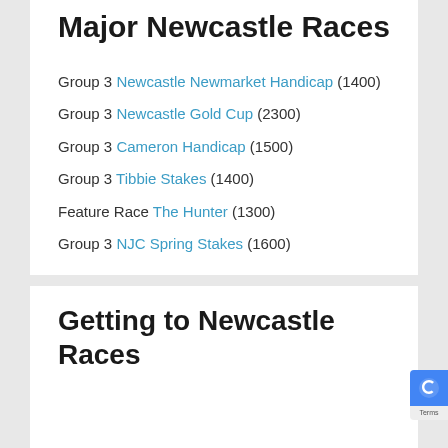Major Newcastle Races
Group 3 Newcastle Newmarket Handicap (1400)
Group 3 Newcastle Gold Cup (2300)
Group 3 Cameron Handicap (1500)
Group 3 Tibbie Stakes (1400)
Feature Race The Hunter (1300)
Group 3 NJC Spring Stakes (1600)
Getting to Newcastle Races